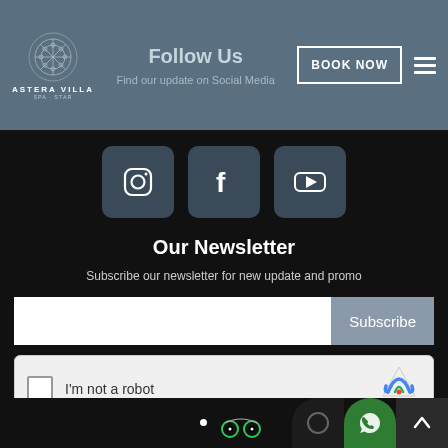[Figure (logo): Astera Villa logo with decorative pattern and text 'ASTERA VILLA' below]
Follow Us
Find our update on Social Media
BOOK NOW
[Figure (infographic): Three social media icon buttons: Instagram, Facebook, YouTube]
Our Newsletter
Subscribe our newsletter for new update and promo
Subscribe
[Figure (screenshot): reCAPTCHA widget with checkbox and 'I'm not a robot' text, showing reCAPTCHA logo, Privacy and Terms links]
[Figure (infographic): Bottom bar with TripAdvisor icon, dark circle icon, green WhatsApp icon, dark square with up arrow]